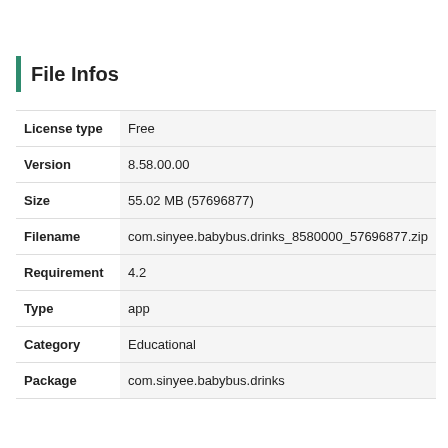File Infos
| License type | Free |
| Version | 8.58.00.00 |
| Size | 55.02 MB (57696877) |
| Filename | com.sinyee.babybus.drinks_8580000_57696877.zip |
| Requirement | 4.2 |
| Type | app |
| Category | Educational |
| Package | com.sinyee.babybus.drinks |